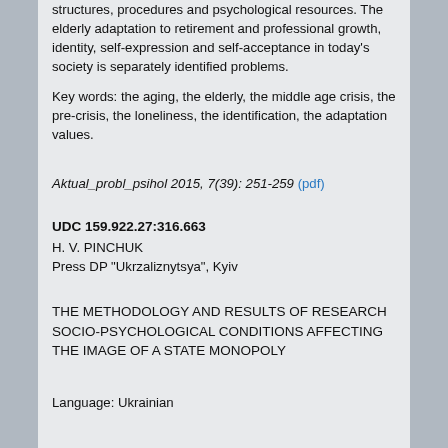structures, procedures and psychological resources. The elderly adaptation to retirement and professional growth, identity, self-expression and self-acceptance in today's society is separately identified problems.
Key words: the aging, the elderly, the middle age crisis, the pre-crisis, the loneliness, the identification, the adaptation values.
Aktual_probl_psihol 2015, 7(39): 251-259 (pdf)
UDC 159.922.27:316.663
H. V. PINCHUK
Press DP “Ukrzaliznytsya”, Kyiv
THE METHODOLOGY AND RESULTS OF RESEARCH SOCIO-PSYCHOLOGICAL CONDITIONS AFFECTING THE IMAGE OF A STATE MONOPOLY
Language: Ukrainian